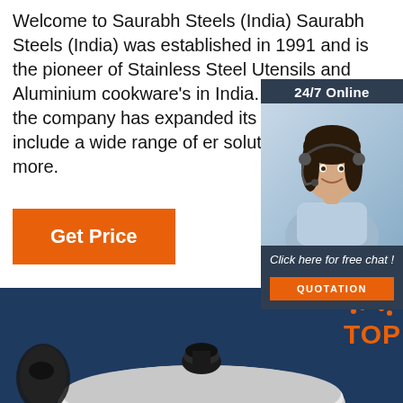Welcome to Saurabh Steels (India) Saurabh Steels (India) was established in 1991 and is the pioneer of Stainless Steel Utensils and Aluminium cookware's in India. Over p years the company has expanded its p Products to include a wide range of er solutions. read more.
[Figure (photo): Chat widget with dark blue background showing '24/7 Online' header, a female customer service agent wearing headset, text 'Click here for free chat!' and an orange QUOTATION button]
Get Price
[Figure (photo): Dark navy blue banner showing stainless steel cookware/pot lid with black handles, and a TOP badge with orange dots in the bottom right corner]